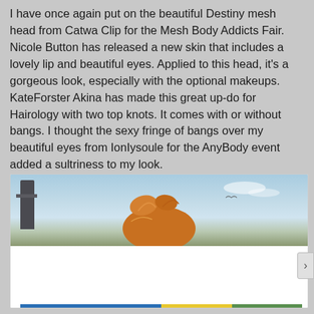I have once again put on the beautiful Destiny mesh head from Catwa Clip for the Mesh Body Addicts Fair. Nicole Button has released a new skin that includes a lovely lip and beautiful eyes. Applied to this head, it's a gorgeous look, especially with the optional makeups. KateForster Akina has made this great up-do for Hairology with two top knots. It comes with or without bangs. I thought the sexy fringe of bangs over my beautiful eyes from IonIysoule for the AnyBody event added a sultriness to my look.
[Figure (photo): Partial photo of a 3D avatar with orange/auburn up-do hair knots against a blue sky background, with a dark tower structure visible on the left edge. A cookie consent banner overlays the bottom portion.]
Privacy & Cookies: This site uses cookies. By continuing to use this website, you agree to their use.
To find out more, including how to control cookies, see here: Cookie Policy